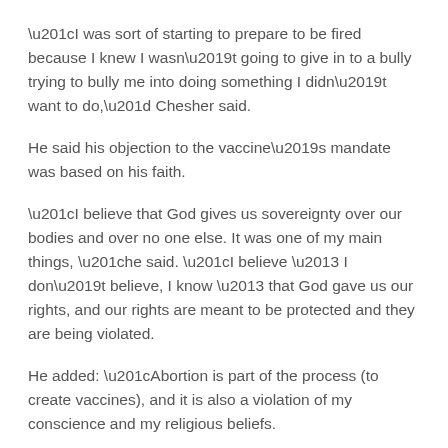“I was sort of starting to prepare to be fired because I knew I wasn’t going to give in to a bully trying to bully me into doing something I didn’t want to do,” Chesher said.
He said his objection to the vaccine’s mandate was based on his faith.
“I believe that God gives us sovereignty over our bodies and over no one else. It was one of my main things, “he said. “I believe – I don’t believe, I know – that God gave us our rights, and our rights are meant to be protected and they are being violated.
He added: “Abortion is part of the process (to create vaccines), and it is also a violation of my conscience and my religious beliefs.
Some vaccines have a remote connection to fetal cells. The cells, called fibroblast cells, are used to grow vaccine viruses. The cells